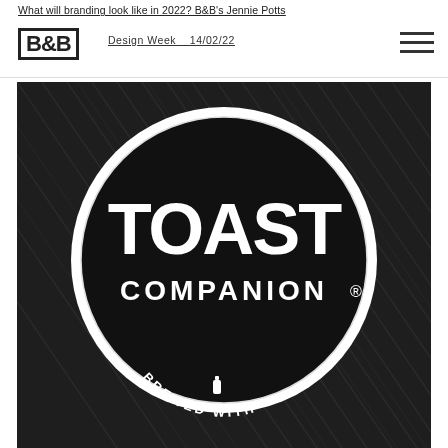What will branding look like in 2022? B&B's Jennie Potts
B&B  Design Week  14/02/22
[Figure (photo): Black and white close-up photograph of a circular black drink coaster on a dark wood-grain surface. The coaster displays the text 'TOAST' in large bold white letters, 'COMPANION®' below in smaller white caps, and 'BREWED WITH' partially visible at the bottom with a small bottle icon.]